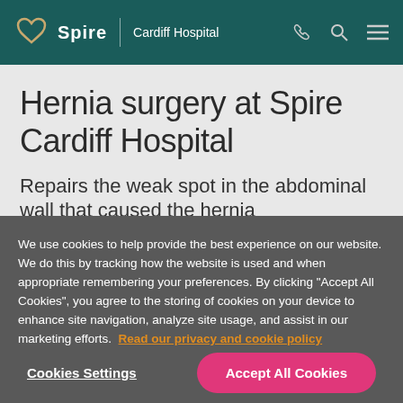Spire | Cardiff Hospital
Hernia surgery at Spire Cardiff Hospital
Repairs the weak spot in the abdominal wall that caused the hernia
We use cookies to help provide the best experience on our website. We do this by tracking how the website is used and when appropriate remembering your preferences. By clicking "Accept All Cookies", you agree to the storing of cookies on your device to enhance site navigation, analyze site usage, and assist in our marketing efforts. Read our privacy and cookie policy
Cookies Settings
Accept All Cookies